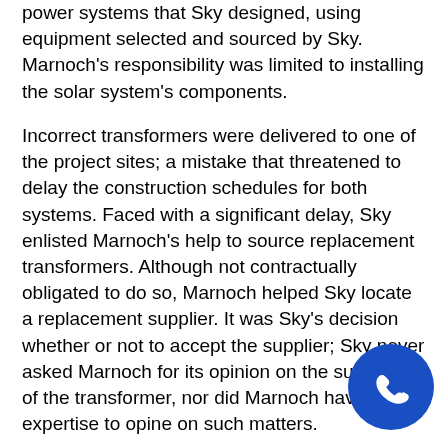power systems that Sky designed, using equipment selected and sourced by Sky. Marnoch's responsibility was limited to installing the solar system's components.
Incorrect transformers were delivered to one of the project sites; a mistake that threatened to delay the construction schedules for both systems. Faced with a significant delay, Sky enlisted Marnoch's help to source replacement transformers. Although not contractually obligated to do so, Marnoch helped Sky locate a replacement supplier. It was Sky's decision whether or not to accept the supplier; Sky never asked Marnoch for its opinion on the suitability of the transformer, nor did Marnoch have the expertise to opine on such matters.
Upon completion of the construction of the solar systems, Sky transferred ownership of the systems to a solar energy partnership (“Firelight”). As part of the sale agreement, Sky provided Firelight with